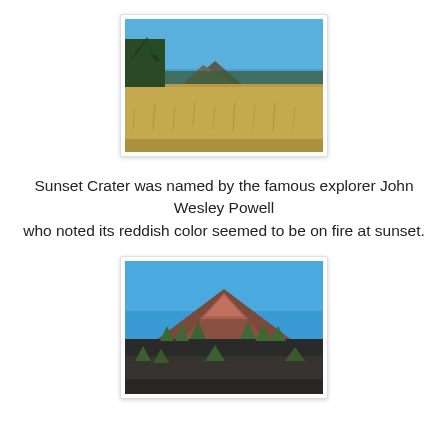[Figure (photo): Landscape photo showing a wide grassy golden field with scattered pine trees on the left and a dark volcanic mountain (Sunset Crater) in the background under a clear blue sky.]
Sunset Crater was named by the famous explorer John Wesley Powell who noted its reddish color seemed to be on fire at sunset.
[Figure (photo): Close-up photo of Sunset Crater volcano showing its reddish-brown cinder cone summit with dark lava fields and green trees at the base under a vivid blue sky.]